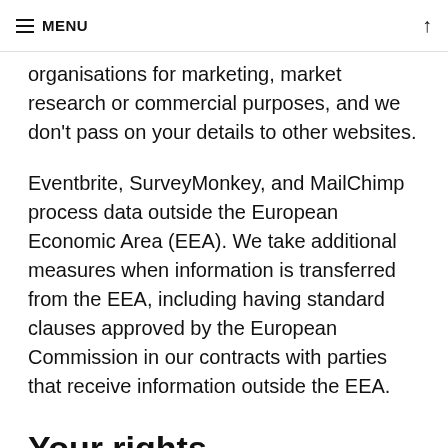MENU
organisations for marketing, market research or commercial purposes, and we don't pass on your details to other websites.
Eventbrite, SurveyMonkey, and MailChimp process data outside the European Economic Area (EEA). We take additional measures when information is transferred from the EEA, including having standard clauses approved by the European Commission in our contracts with parties that receive information outside the EEA.
Your rights
Und...